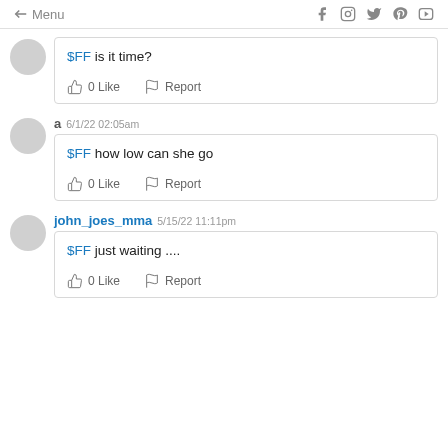← Menu  [social icons: Facebook, Instagram, Twitter, Pinterest, YouTube]
$FF is it time?
👍 0 Like   🚩 Report
a  6/1/22 02:05am
$FF how low can she go
👍 0 Like   🚩 Report
john_joes_mma  5/15/22 11:11pm
$FF just waiting ....
👍 0 Like   🚩 Report